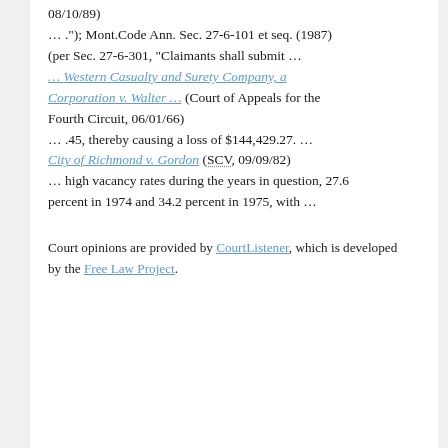08/10/89)
… ."); Mont.Code Ann. Sec. 27-6-101 et seq. (1987) (per Sec. 27-6-301, "Claimants shall submit … … Western Casualty and Surety Company, a Corporation v. Walter … (Court of Appeals for the Fourth Circuit, 06/01/66)
… .45, thereby causing a loss of $144,429.27. …
City of Richmond v. Gordon (SCV, 09/09/82)
… high vacancy rates during the years in question, 27.6 percent in 1974 and 34.2 percent in 1975, with …
Court opinions are provided by CourtListener, which is developed by the Free Law Project.